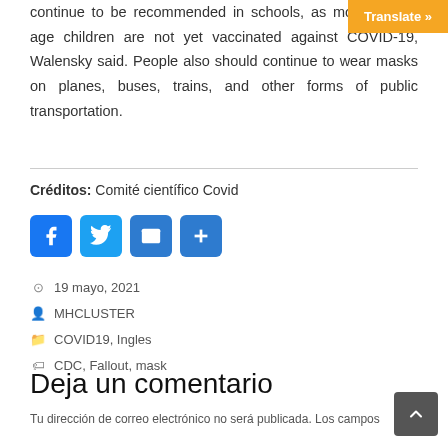continue to be recommended in schools, as most school-age children are not yet vaccinated against COVID-19, Walensky said. People also should continue to wear masks on planes, buses, trains, and other forms of public transportation.
Créditos: Comité científico Covid
[Figure (other): Social share buttons: Facebook, Twitter, Email, Share]
19 mayo, 2021
MHCLUSTER
COVID19, Ingles
CDC, Fallout, mask
Deja un comentario
Tu dirección de correo electrónico no será publicada. Los campos